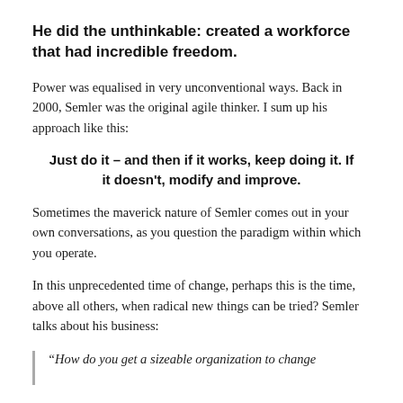He did the unthinkable: created a workforce that had incredible freedom.
Power was equalised in very unconventional ways. Back in 2000, Semler was the original agile thinker. I sum up his approach like this:
Just do it – and then if it works, keep doing it. If it doesn't, modify and improve.
Sometimes the maverick nature of Semler comes out in your own conversations, as you question the paradigm within which you operate.
In this unprecedented time of change, perhaps this is the time, above all others, when radical new things can be tried? Semler talks about his business:
“How do you get a sizeable organization to change